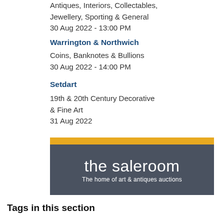Antiques, Interiors, Collectables, Jewellery, Sporting & General
30 Aug 2022 - 13:00 PM
Warrington & Northwich
Coins, Banknotes & Bullions
30 Aug 2022 - 14:00 PM
Setdart
19th & 20th Century Decorative & Fine Art
31 Aug 2022
[Figure (logo): The Saleroom logo — gold stripe over dark grey background with white text 'the saleroom' and subtitle 'The home of art & antiques auctions']
Tags in this section